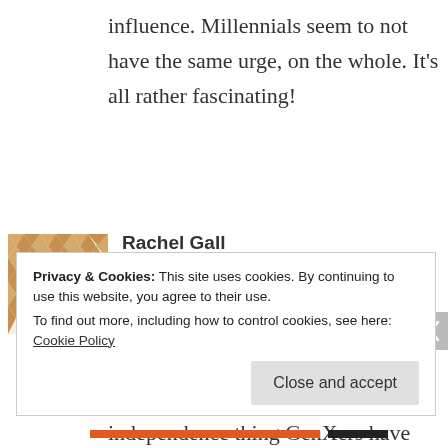influence. Millennials seem to not have the same urge, on the whole. It's all rather fascinating!
Rachel Gall · November 7, 2013 at 12:19 am · Reply
[Figure (illustration): Avatar image with geometric diamond/triangle mosaic pattern in gold/tan colors]
Yes, I think it's a key difference, the independence thing GenXers have more than Millennials. It's hard to
Privacy & Cookies: This site uses cookies. By continuing to use this website, you agree to their use.
To find out more, including how to control cookies, see here: Cookie Policy
Close and accept